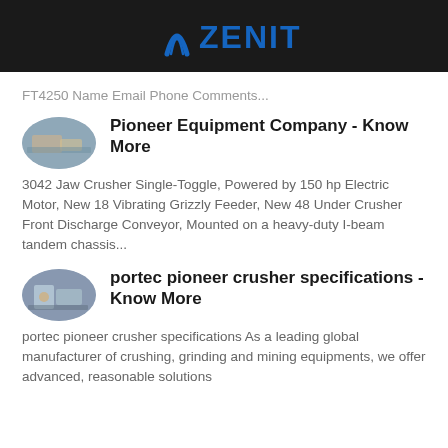ZENIT
FT4250 Name Email Phone Comments...
Pioneer Equipment Company - Know More
3042 Jaw Crusher Single-Toggle, Powered by 150 hp Electric Motor, New 18 Vibrating Grizzly Feeder, New 48 Under Crusher Front Discharge Conveyor, Mounted on a heavy-duty I-beam tandem chassis...
portec pioneer crusher specifications - Know More
portec pioneer crusher specifications As a leading global manufacturer of crushing, grinding and mining equipments, we offer advanced, reasonable solutions